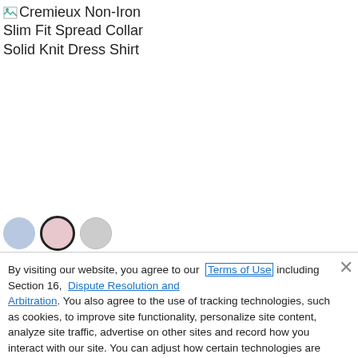Cremieux Non-Iron Slim Fit Spread Collar Solid Knit Dress Shirt
[Figure (other): Three color swatches (circles): blue, pink with black border, gray]
By visiting our website, you agree to our Terms of Use including Section 16, Dispute Resolution and Arbitration. You also agree to the use of tracking technologies, such as cookies, to improve site functionality, personalize site content, analyze site traffic, advertise on other sites and record how you interact with our site. You can adjust how certain technologies are used on our site through Cookie Settings.